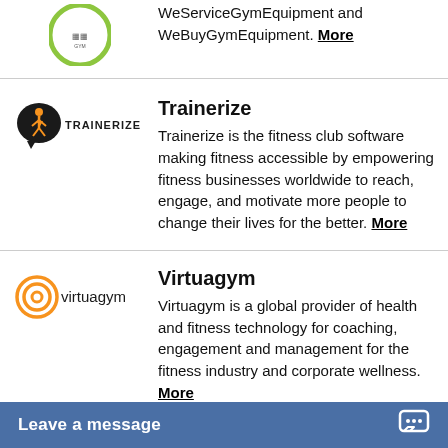[Figure (logo): Partial logo at top (green circle with QR code/emblem)]
WeServiceGymEquipment and WeBuyGymEquipment. More
[Figure (logo): Trainerize logo: black circle with orange running figure and lightning bolt, TRAINERIZE text]
Trainerize
Trainerize is the fitness club software making fitness accessible by empowering fitness businesses worldwide to reach, engage, and motivate more people to change their lives for the better. More
[Figure (logo): Virtuagym logo: orange concentric circle target icon, 'virtuagym' text]
Virtuagym
Virtuagym is a global provider of health and fitness technology for coaching, engagement and management for the fitness industry and corporate wellness. More
Leave a message